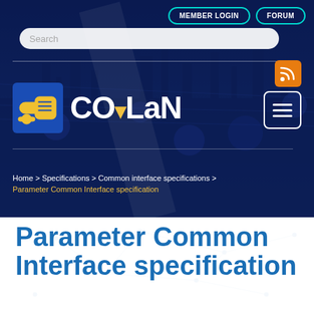[Figure (screenshot): CO-LaN website header banner with industrial background, navigation buttons (MEMBER LOGIN, FORUM), search bar, RSS icon, CO-LaN logo with yellow icon and white text, hamburger menu icon]
Home > Specifications > Common interface specifications >
Parameter Common Interface specification
Parameter Common Interface specification